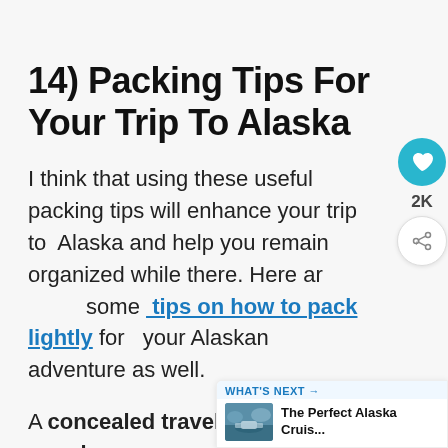14) Packing Tips For Your Trip To Alaska
I think that using these useful packing tips will enhance your trip to Alaska and help you remain organized while there. Here are some tips on how to pack lightly for your Alaskan adventure as well.
A concealed travel pouch may the most important items you bring during